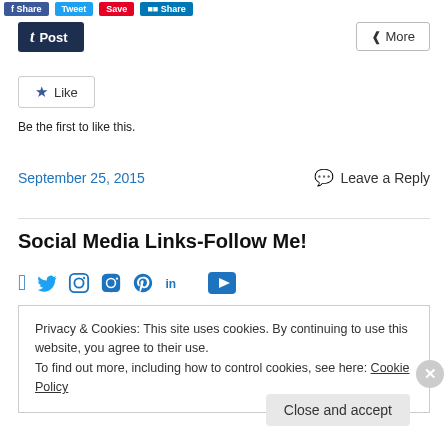[Figure (screenshot): Social share buttons row at the top (Facebook, Twitter, Pinterest, LinkedIn-style colored buttons)]
t Post
< More
★ Like
Be the first to like this.
September 25, 2015
Leave a Reply
Social Media Links-Follow Me!
[Figure (illustration): Row of social media icons: Facebook, Twitter, Instagram, Pinterest, LinkedIn, YouTube in blue]
Privacy & Cookies: This site uses cookies. By continuing to use this website, you agree to their use.
To find out more, including how to control cookies, see here: Cookie Policy
Close and accept